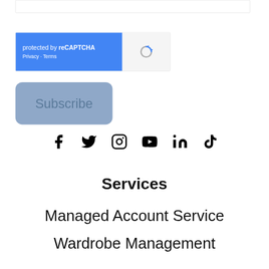[Figure (screenshot): reCAPTCHA widget with blue left panel showing 'protected by reCAPTCHA' and Privacy · Terms text, and grey right panel with reCAPTCHA logo (circular arrows icon in blue and grey)]
Subscribe
[Figure (infographic): Row of social media icons: Facebook, Twitter/X, Instagram, YouTube, LinkedIn, TikTok]
Services
Managed Account Service
Wardrobe Management